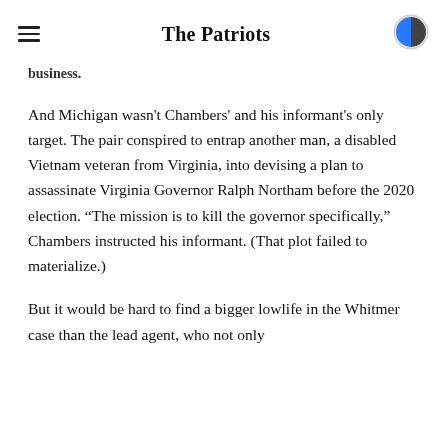The Patriots
business.
And Michigan wasn't Chambers' and his informant's only target. The pair conspired to entrap another man, a disabled Vietnam veteran from Virginia, into devising a plan to assassinate Virginia Governor Ralph Northam before the 2020 election. “The mission is to kill the governor specifically,” Chambers instructed his informant. (That plot failed to materialize.)
But it would be hard to find a bigger lowlife in the Whitmer case than the lead agent, who not only